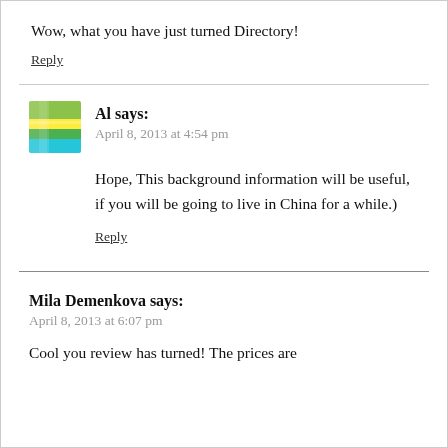Wow, what you have just turned Directory!
Reply
Al says:
April 8, 2013 at 4:54 pm
[Figure (photo): User avatar thumbnail for Al showing layered green, yellow, and teal horizontal stripes]
Hope, This background information will be useful, if you will be going to live in China for a while.)
Reply
Mila Demenkova says:
April 8, 2013 at 6:07 pm
Cool you review has turned! The prices are